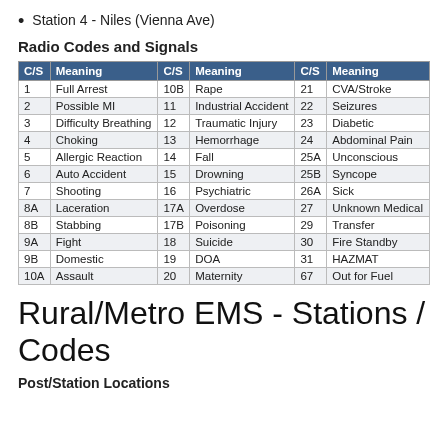Station 4 - Niles (Vienna Ave)
Radio Codes and Signals
| C/S | Meaning | C/S | Meaning | C/S | Meaning |
| --- | --- | --- | --- | --- | --- |
| 1 | Full Arrest | 10B | Rape | 21 | CVA/Stroke |
| 2 | Possible MI | 11 | Industrial Accident | 22 | Seizures |
| 3 | Difficulty Breathing | 12 | Traumatic Injury | 23 | Diabetic |
| 4 | Choking | 13 | Hemorrhage | 24 | Abdominal Pain |
| 5 | Allergic Reaction | 14 | Fall | 25A | Unconscious |
| 6 | Auto Accident | 15 | Drowning | 25B | Syncope |
| 7 | Shooting | 16 | Psychiatric | 26A | Sick |
| 8A | Laceration | 17A | Overdose | 27 | Unknown Medical |
| 8B | Stabbing | 17B | Poisoning | 29 | Transfer |
| 9A | Fight | 18 | Suicide | 30 | Fire Standby |
| 9B | Domestic | 19 | DOA | 31 | HAZMAT |
| 10A | Assault | 20 | Maternity | 67 | Out for Fuel |
Rural/Metro EMS - Stations / Codes
Post/Station Locations